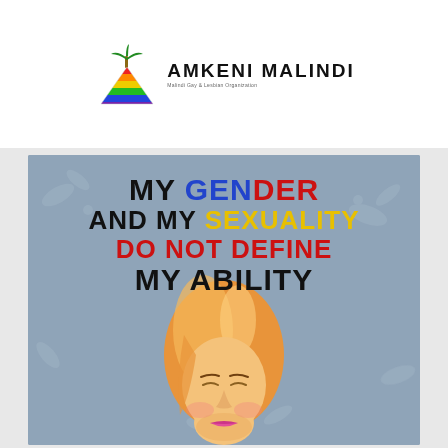[Figure (logo): Amkeni Malindi logo: a rainbow-colored triangle with a palm tree on top, followed by the organization name AMKENI MALINDI in bold black text with a small subtitle tagline.]
[Figure (illustration): A poster with a muted blue-grey floral background showing an illustrated androgynous person with orange/golden hair looking downward. Bold text reads: MY GENDER AND MY SEXUALITY DO NOT DEFINE MY ABILITY, with GENDER in blue/red, SEXUALITY in yellow, DO NOT DEFINE in red, and other words in black.]